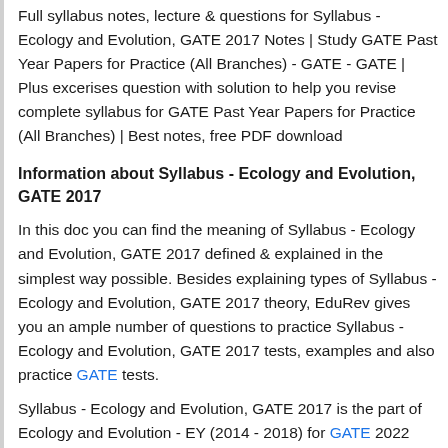Full syllabus notes, lecture & questions for Syllabus - Ecology and Evolution, GATE 2017 Notes | Study GATE Past Year Papers for Practice (All Branches) - GATE - GATE | Plus excerises question with solution to help you revise complete syllabus for GATE Past Year Papers for Practice (All Branches) | Best notes, free PDF download
Information about Syllabus - Ecology and Evolution, GATE 2017
In this doc you can find the meaning of Syllabus - Ecology and Evolution, GATE 2017 defined & explained in the simplest way possible. Besides explaining types of Syllabus - Ecology and Evolution, GATE 2017 theory, EduRev gives you an ample number of questions to practice Syllabus - Ecology and Evolution, GATE 2017 tests, examples and also practice GATE tests.
Syllabus - Ecology and Evolution, GATE 2017 is the part of Ecology and Evolution - EY (2014 - 2018) for GATE 2022